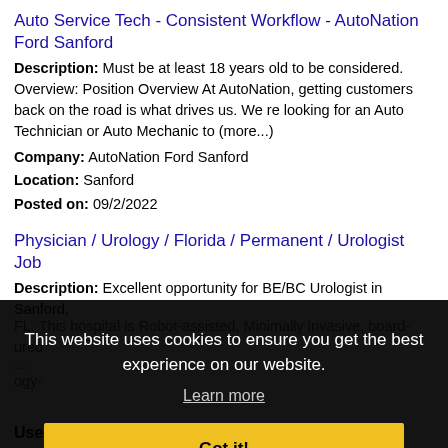Auto Service Tech - Consistent Workflow - AutoNation Ford Sanford
Description: Must be at least 18 years old to be considered. Overview: Position Overview At AutoNation, getting customers back on the road is what drives us. We re looking for an Auto Technician or Auto Mechanic to (more...)
Company: AutoNation Ford Sanford
Location: Sanford
Posted on: 09/2/2022
Physician / Urology / Florida / Permanent / Urologist Job
Description: Excellent opportunity for BE/BC Urologist in Sanford, FL. This hospital is Robot-assisted, Minimally invasive, board-ured ... ogy- ...
This website uses cookies to ensure you get the best experience on our website.
Learn more
Got it!
Login or Create an Account
Username: